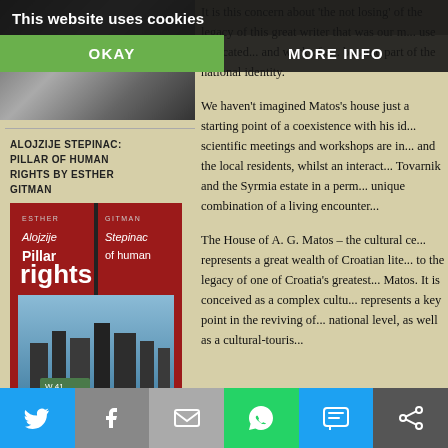[Figure (screenshot): Cookie consent banner overlay with 'This website uses cookies' text, OKAY button (green) and MORE INFO button (dark)]
[Figure (photo): Partial photo of a person, dark toned, top of left column]
ALOJZIJE STEPINAC: PILLAR OF HUMAN RIGHTS BY ESTHER GITMAN
[Figure (photo): Book cover: Alojzije Stepinac Pillar of human rights by Esther Gitman, red cover with white text and city photo]
It is this concern about 'the not losing' of the legacy of this great writer that was our m... use dedicated... and work of a... became part of the national identity.
We haven't imagined Matos's house just a starting point of a coexistence with his id... scientific meetings and workshops are in... and the local residents, whilst an interact... Tovarnik and the Syrmia estate in a perm... unique combination of a living encounter...
The House of A. G. Matos – the cultural ce... represents a great wealth of Croatian lite... to the legacy of one of Croatia's greatest... Matos. It is conceived as a complex cultu... represents a key point in the reviving of... national level, as well as a cultural-touris...
[Figure (infographic): Social sharing bar with Twitter, Facebook, Email, WhatsApp, SMS, and share icons]